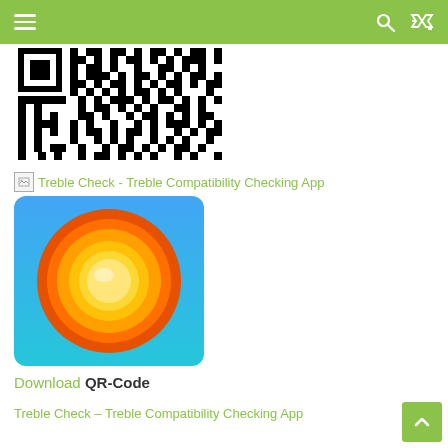≡  [search] [shuffle]
[Figure (other): QR code (partial, cropped at top) in black and white pixels]
[Figure (other): Broken image placeholder icon with alt text: Treble Check - Treble Compatibility Checking App]
[Figure (illustration): App icon for Treble Check: blue-to-teal gradient background with concentric orange and yellow circles resembling Android Oreo logo]
Download QR-Code
Treble Check – Treble Compatibility Checking App